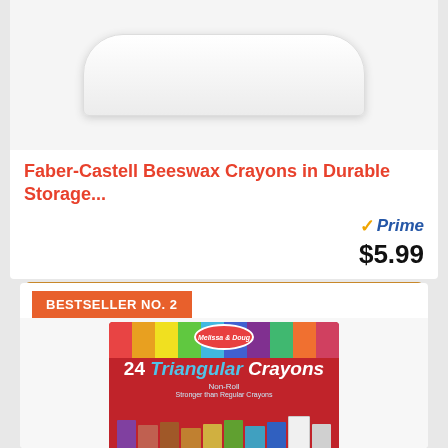Faber-Castell Beeswax Crayons in Durable Storage...
Prime
$5.99
Buy on Amazon
BESTSELLER NO. 2
[Figure (photo): Melissa & Doug 24 Triangular Crayons box, Non-Roll, Stronger than Regular Crayons, colorful striped packaging with crayons displayed]